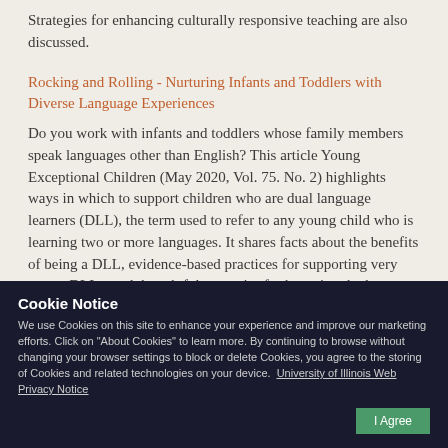Strategies for enhancing culturally responsive teaching are also discussed.
Rocking and Rolling - Nurturing Infants and Toddlers with Diverse Language Experiences
Do you work with infants and toddlers whose family members speak languages other than English? This article Young Exceptional Children (May 2020, Vol. 75. No. 2) highlights ways in which to support children who are dual language learners (DLL), the term used to refer to any young child who is learning two or more languages. It shares facts about the benefits of being a DLL, evidence-based practices for supporting very young DLLs, and thoughtful strategies for honoring the language and cultural traditions of each child's family.
Cookie Notice
We use Cookies on this site to enhance your experience and improve our marketing efforts. Click on "About Cookies" to learn more. By continuing to browse without changing your browser settings to block or delete Cookies, you agree to the storing of Cookies and related technologies on your device. University of Illinois Web Privacy Notice
and in the Infant/Toddler